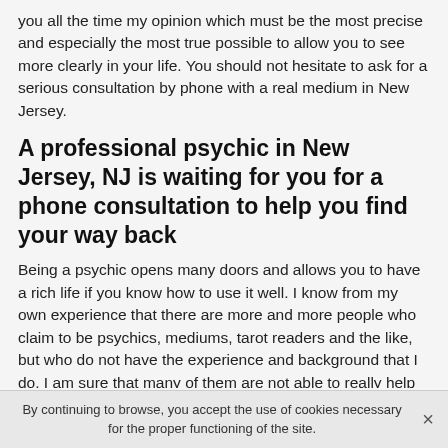you all the time my opinion which must be the most precise and especially the most true possible to allow you to see more clearly in your life. You should not hesitate to ask for a serious consultation by phone with a real medium in New Jersey.
A professional psychic in New Jersey, NJ is waiting for you for a phone consultation to help you find your way back
Being a psychic opens many doors and allows you to have a rich life if you know how to use it well. I know from my own experience that there are more and more people who claim to be psychics, mediums, tarot readers and the like, but who do not have the experience and background that I do. I am sure that many of them are not able to really help you and bring you solutions as clear and honest as I do. I
By continuing to browse, you accept the use of cookies necessary for the proper functioning of the site.